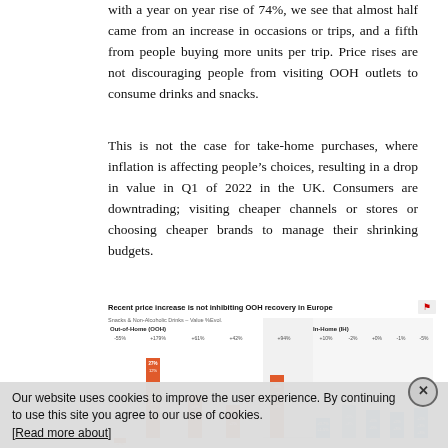With a year on year rise of 74%, we see that almost half came from an increase in occasions or trips, and a fifth from people buying more units per trip. Price rises are not discouraging people from visiting OOH outlets to consume drinks and snacks.
This is not the case for take-home purchases, where inflation is affecting people's choices, resulting in a drop in value in Q1 of 2022 in the UK. Consumers are downtrading; visiting cheaper channels or stores or choosing cheaper brands to manage their shrinking budgets.
[Figure (grouped-bar-chart): Grouped bar chart showing Snacks & Non-Alcoholic Drinks - Value %Evol. for Out-of-Home (OOH) and In-Home (IH) channels. OOH bars in orange, IH bars in blue. OOH values: -55%, +179%, +61%, +42%, +94%. IH values: +10%, -2%, +0%, -1%, -5%.]
Our website uses cookies to improve the user experience. By continuing to use this site you agree to our use of cookies. [Read more about]